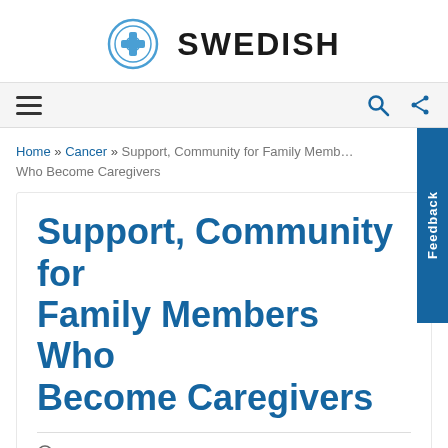[Figure (logo): Swedish Health logo — circular blue icon with cross/plus symbol followed by bold text SWEDISH]
SWEDISH
Home » Cancer » Support, Community for Family Members Who Become Caregivers
Support, Community for Family Members Who Become Caregivers
NOVEMBER 29, 2021
SWEDISH HEALTH TEAM